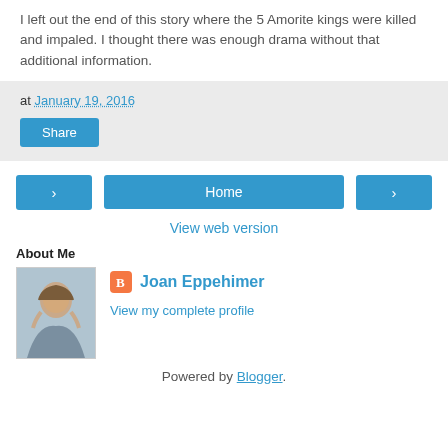I left out the end of this story where the 5 Amorite kings were killed and impaled. I thought there was enough drama without that additional information.
at January 19, 2016
Share
Home
View web version
About Me
[Figure (photo): Profile photo of Joan Eppehimer]
Joan Eppehimer
View my complete profile
Powered by Blogger.